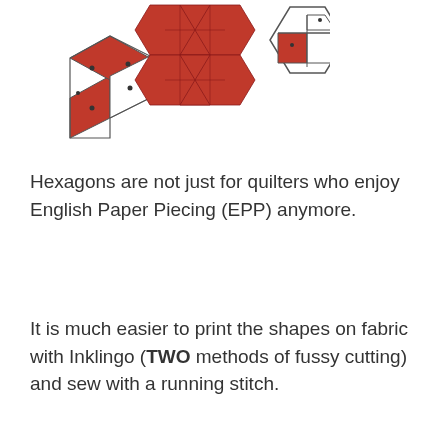[Figure (illustration): Three geometric hexagon-based quilt block illustrations: left shows a partial 3D cube/hexagon shape with outline and red fill with small dots, center shows a larger red star/cross hexagon shape, right shows a 3D cube hexagon shape outline with small red filled faces.]
Hexagons are not just for quilters who enjoy English Paper Piecing (EPP) anymore.
It is much easier to print the shapes on fabric with Inklingo (TWO methods of fussy cutting) and sew with a running stitch.